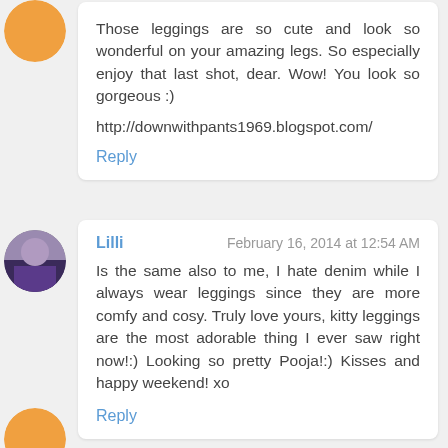Those leggings are so cute and look so wonderful on your amazing legs. So especially enjoy that last shot, dear. Wow! You look so gorgeous :)

http://downwithpants1969.blogspot.com/

Reply
Lilli
February 16, 2014 at 12:54 AM
Is the same also to me, I hate denim while I always wear leggings since they are more comfy and cosy. Truly love yours, kitty leggings are the most adorable thing I ever saw right now!:) Looking so pretty Pooja!:) Kisses and happy weekend! xo

Reply